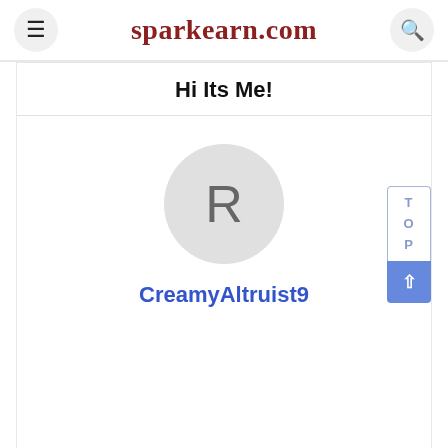sparkearn.com
Hi Its Me!
[Figure (illustration): User avatar circle with letter R and username CreamyAltruist9 below, plus a TOP scroll button on the right]
CreamyAltruist9